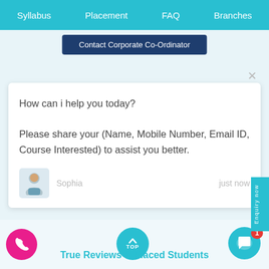Syllabus    Placement    FAQ    Branches
Contact Corporate Co-Ordinator
How can i help you today?

Please share your (Name, Mobile Number, Email ID, Course Interested) to assist you better.
Sophia    just now
True Reviews & Placed Students